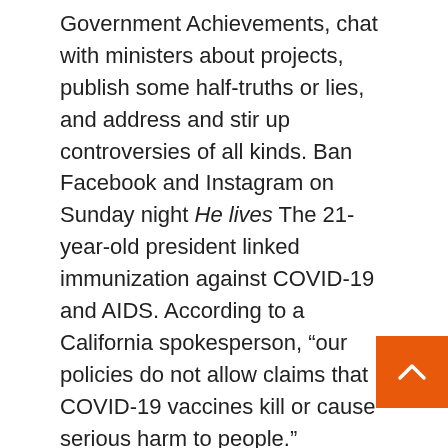Government Achievements, chat with ministers about projects, publish some half-truths or lies, and address and stir up controversies of all kinds. Ban Facebook and Instagram on Sunday night He lives The 21-year-old president linked immunization against COVID-19 and AIDS. According to a California spokesperson, “our policies do not allow claims that COVID-19 vaccines kill or cause serious harm to people.” YouTube, which is affiliated with Google, joined in at night by deactivating the video.
The Brazilian echoed an old conspiracy theory that, like everyone else, comes and goes with some variation. Before he even started reading a snippet, Bolsonaro was well aware that he was entering a swampy ar… as he explained to those who saw him live: “I will … publish the news. I will not comment on it because I